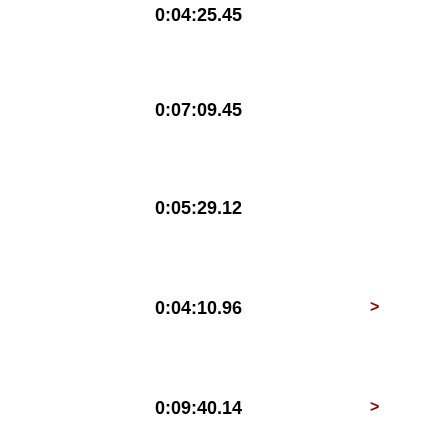0:04:25.45
0:07:09.45
0:05:29.12
0:04:10.96 >
0:09:40.14 >
0:04:19.32
0:03:19.82
0:03:29.81
0:05:44.73 >
0:02:29.09
28  0:06:11.58